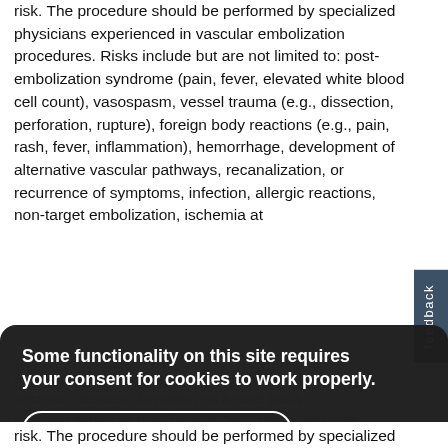Vascular embolization is a procedure that has inherent risk. The procedure should be performed by specialized physicians experienced in vascular embolization procedures. Risks include but are not limited to: post-embolization syndrome (pain, fever, elevated white blood cell count), vasospasm, vessel trauma (e.g., dissection, perforation, rupture), foreign body reactions (e.g., pain, rash, fever, inflammation), hemorrhage, development of alternative vascular pathways, recanalization, or recurrence of symptoms, infection, allergic reactions, non-target embolization, ischemia at an undesirable location, ischemic infarction, tissue necrosis, abscess formation on a case basis, radiation exposure from fluoroscopy used to visualize the procedure, and including paralysis, or death
[Figure (screenshot): Cookie consent overlay dialog with dark semi-transparent background. Contains text 'Some functionality on this site requires your consent for cookies to work properly.' and two buttons: 'I consent to cookies' and 'I want more information'.]
risk. The procedure should be performed by specialized